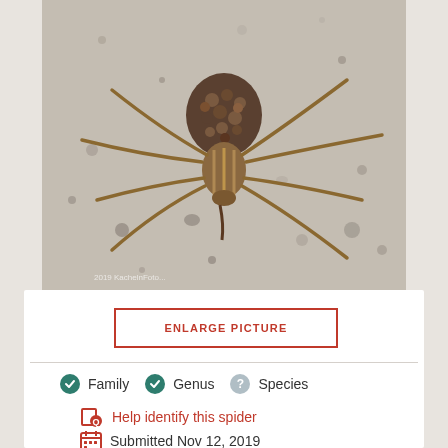[Figure (photo): Close-up photo of a brown spider with long legs on a concrete/gravel surface. The spider's abdomen appears to have small offspring or texture on its back.]
ENLARGE PICTURE
Family  Genus  Species
Help identify this spider
Submitted Nov 12, 2019